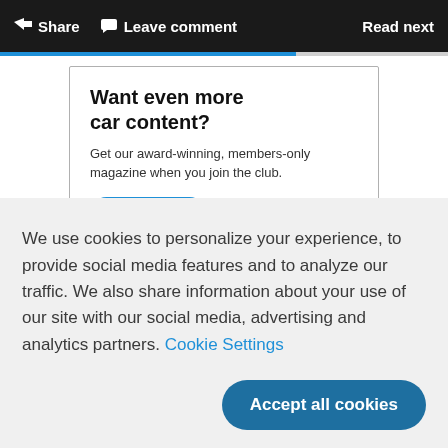Share  Leave comment  Read next
[Figure (infographic): Hagerty Drivers Club advertisement card with 'Want even more car content?' heading, subtitle text, Join the club button, and Hagerty Drivers Club logo]
We use cookies to personalize your experience, to provide social media features and to analyze our traffic. We also share information about your use of our site with our social media, advertising and analytics partners. Cookie Settings
Accept all cookies